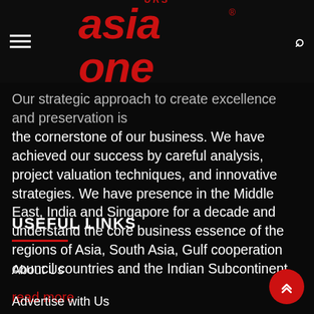URS Asia One
Our strategic approach to create excellence and preservation is the cornerstone of our business. We have achieved our success by careful analysis, project valuation techniques, and innovative strategies. We have presence in the Middle East, India and Singapore for a decade and understand the core business essence of the regions of Asia, South Asia, Gulf cooperation council countries and the Indian Subcontinent.
read more
USEFUL LINKS
About Us
Advertise with Us
Disclaimer